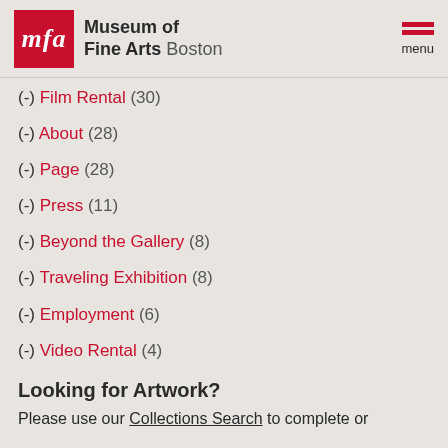[Figure (logo): Museum of Fine Arts Boston logo with red MFA box and text]
(-) Film Rental (30)
(-) About (28)
(-) Page (28)
(-) Press (11)
(-) Beyond the Gallery (8)
(-) Traveling Exhibition (8)
(-) Employment (6)
(-) Video Rental (4)
Looking for Artwork?
Please use our Collections Search to complete or